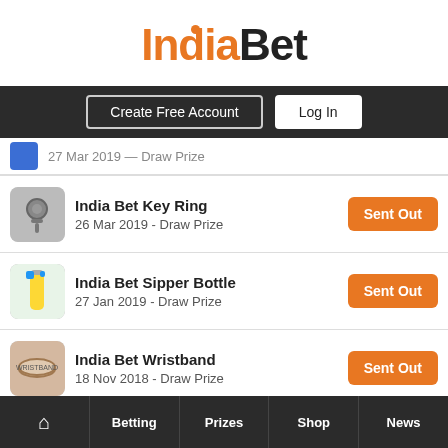[Figure (logo): IndiaBet logo with orange 'India' and dark 'Bet' text, orange dot above the i]
[Figure (screenshot): Navigation bar with 'Create Free Account' and 'Log In' buttons on dark background]
India Bet Key Ring - 26 Mar 2019 - Draw Prize - Sent Out
India Bet Sipper Bottle - 27 Jan 2019 - Draw Prize - Sent Out
India Bet Wristband - 18 Nov 2018 - Draw Prize - Sent Out
India Bet T-Shirt - 15 Jun 2018 - Draw Prize - Sent Out
100 INR Golden Jeeto Voucher - 14 Apr 2018 - Draw Prize - Sent Out
India Bet Wristband - 12 Apr 2018 - Draw Prize - Sent Out
Home | Betting | Prizes | Shop | News